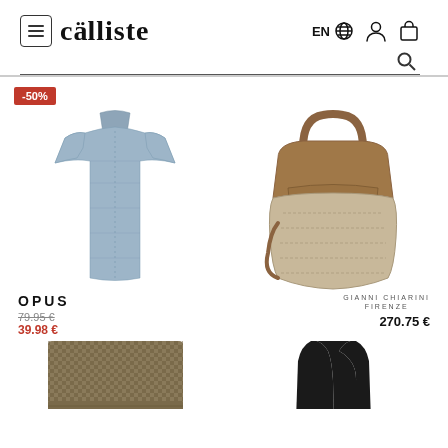[Figure (screenshot): Calliste e-commerce website header with menu icon, logo, language selector (EN + globe), user icon, cart icon, and search bar]
[Figure (photo): Light blue/grey linen shirt dress with collar and short sleeves, shown on white background, with -50% red sale badge]
[Figure (photo): Gianni Chiarini Firenze tan suede and tweed structured handbag with top handle]
OPUS
79.95 €  39.98 €
GIANNI CHIARINI FIRENZE
270.75 €
[Figure (photo): Olive/khaki houndstooth knit sweater, partial view from bottom]
[Figure (photo): Black sleeveless dress, partial view from bottom]